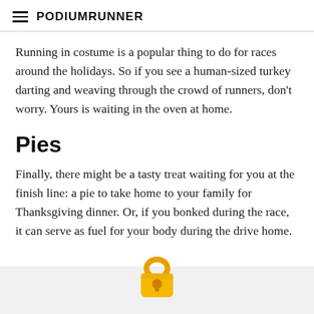PodiumRunner
Running in costume is a popular thing to do for races around the holidays. So if you see a human-sized turkey darting and weaving through the crowd of runners, don't worry. Yours is waiting in the oven at home.
Pies
Finally, there might be a tasty treat waiting for you at the finish line: a pie to take home to your family for Thanksgiving dinner. Or, if you bonked during the race, it can serve as fuel for your body during the drive home.
[Figure (illustration): A gold padlock icon centered at the bottom of the page above a light gray footer bar, indicating a paywall or locked content.]